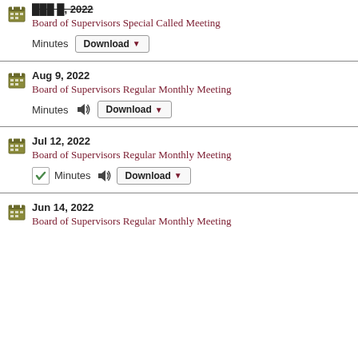[date redacted] Board of Supervisors Special Called Meeting — Minutes Download
Aug 9, 2022 Board of Supervisors Regular Monthly Meeting — Minutes Download
Jul 12, 2022 Board of Supervisors Regular Monthly Meeting — Minutes Download
Jun 14, 2022 Board of Supervisors Regular Monthly Meeting